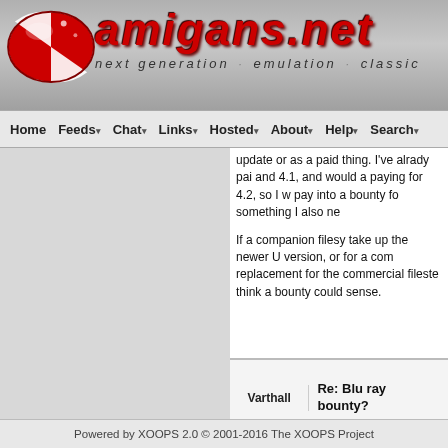[Figure (logo): Amigans.net website header with red and white checkered globe logo, site name in red italic bold font, tagline 'next generation · emulation · classic']
Home  Feeds  Chat  Links  Hosted  About  Help  Search
update or as a paid thing. I've alrady pai and 4.1, and would paying for 4.2, so I v pay into a bounty fo something I also ne

If a companion filesy take up the newer U version, or for a con replacement for the commercial fileste think a bounty could sense.
| Author | Title |
| --- | --- |
| Varthall | Re: Blu ray bounty? |
Powered by XOOPS 2.0 © 2001-2016 The XOOPS Project